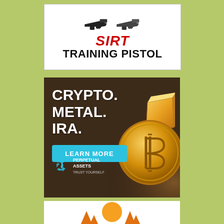[Figure (illustration): SIRT Training Pistol advertisement. White background with two pistol silhouettes at top. Red bold italic text 'SIRT' and black bold text 'TRAINING PISTOL' below.]
[Figure (infographic): Perpetual Assets advertisement on dark brown background. Large white bold text 'CRYPTO. METAL. IRA.' with a cyan 'LEARN MORE' button. Perpetual Assets logo (blue recycling arrows icon) with company name. Bitcoin gold coin visible on right side. Gold bar visible top right.]
[Figure (illustration): Outdoor/nature advertisement. White background with orange sun, orange pine tree silhouettes forming a sunrise/outdoor scene.]